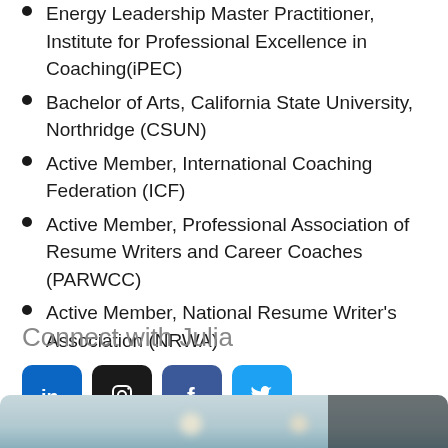Energy Leadership Master Practitioner, Institute for Professional Excellence in Coaching(iPEC)
Bachelor of Arts, California State University, Northridge (CSUN)
Active Member, International Coaching Federation (ICF)
Active Member, Professional Association of Resume Writers and Career Coaches (PARWCC)
Active Member, National Resume Writer's Association (NRWA)
Connect with Julia
[Figure (infographic): Social media icons for LinkedIn, Instagram, Facebook, and Twitter]
[Figure (photo): Blurred background photo with bokeh lights, partially visible at bottom of page]